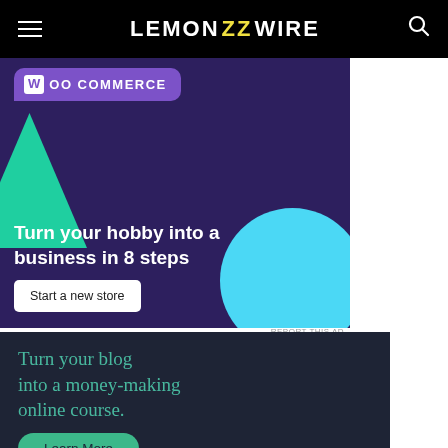LEMON ZZ WIRE
[Figure (screenshot): WooCommerce advertisement banner with dark purple background, teal triangle shape, blue circle, WooCommerce logo tag, headline 'Turn your hobby into a business in 8 steps', and 'Start a new store' button]
REPORT THIS AD
[Figure (screenshot): Dark navy advertisement banner with teal serif text 'Turn your blog into a money-making online course.' and a teal 'Learn More' button]